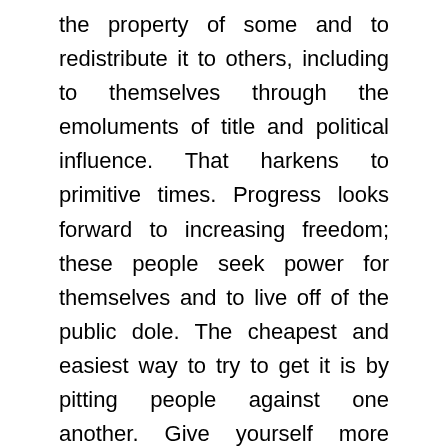the property of some and to redistribute it to others, including to themselves through the emoluments of title and political influence. That harkens to primitive times. Progress looks forward to increasing freedom; these people seek power for themselves and to live off of the public dole. The cheapest and easiest way to try to get it is by pitting people against one another. Give yourself more credit, everybody, recognize your worth, look at history, and